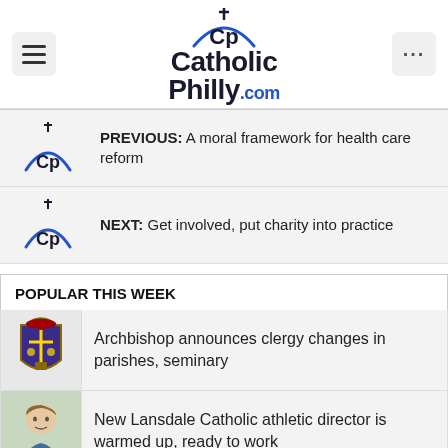CatholicPhilly.com
PREVIOUS: A moral framework for health care reform
NEXT: Get involved, put charity into practice
POPULAR THIS WEEK
Archbishop announces clergy changes in parishes, seminary
New Lansdale Catholic athletic director is warmed up, ready to work